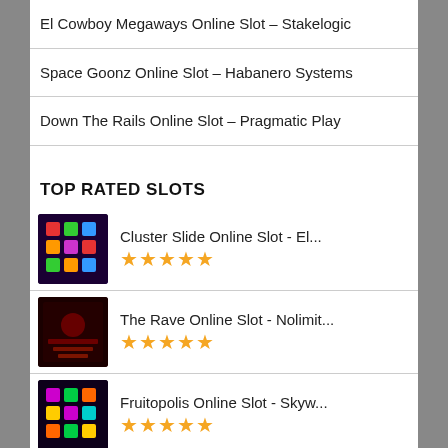El Cowboy Megaways Online Slot – Stakelogic
Space Goonz Online Slot – Habanero Systems
Down The Rails Online Slot – Pragmatic Play
TOP RATED SLOTS
Cluster Slide Online Slot - El... ★★★★★
The Rave Online Slot - Nolimit... ★★★★★
Fruitopolis Online Slot - Skyw... ★★★★★
Stumpy McDoodles 2 Online Slot... ★★★★★